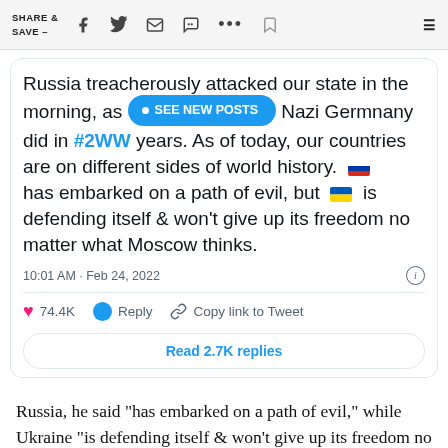SHARE & SAVE —
Russia treacherously attacked our state in the morning, as Nazi Germany did in #2WW years. As of today, our countries are on different sides of world history. 🇷🇺 has embarked on a path of evil, but 🇺🇦 is defending itself & won't give up its freedom no matter what Moscow thinks.
10:01 AM · Feb 24, 2022
74.4K   Reply   Copy link to Tweet
Read 2.7K replies
Russia, he said "has embarked on a path of evil," while Ukraine "is defending itself & won't give up its freedom no matter what Moscow thinks."